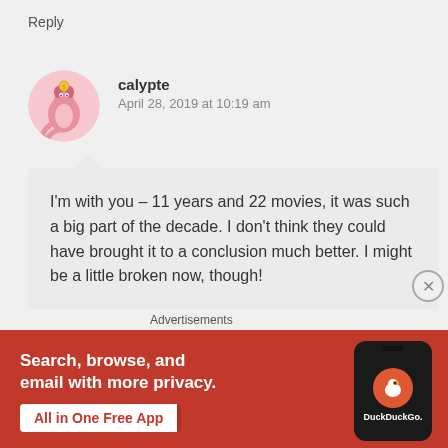Reply
calypte
April 28, 2019 at 10:19 am
I'm with you – 11 years and 22 movies, it was such a big part of the decade. I don't think they could have brought it to a conclusion much better. I might be a little broken now, though!
Liked by 2 people
Advertisements
[Figure (screenshot): DuckDuckGo advertisement banner with orange/red background. Text: 'Search, browse, and email with more privacy. All in One Free App'. Shows a phone mockup with DuckDuckGo logo.]